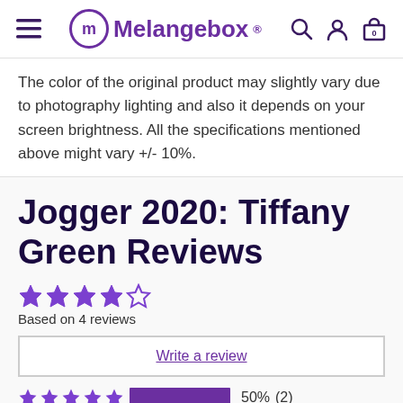Melangebox®
The color of the original product may slightly vary due to photography lighting and also it depends on your screen brightness. All the specifications mentioned above might vary +/- 10%.
Jogger 2020: Tiffany Green Reviews
★★★★☆ Based on 4 reviews
Write a review
★★★★★ 50% (2)